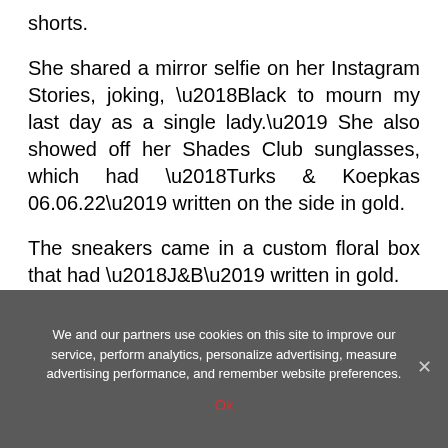shorts.
She shared a mirror selfie on her Instagram Stories, joking, ‘Black to mourn my last day as a single lady.’ She also showed off her Shades Club sunglasses, which had ‘Turks & Koepkas 06.06.22’ written on the side in gold.
The sneakers came in a custom floral box that had ‘J&B’ written in gold.
We and our partners use cookies on this site to improve our service, perform analytics, personalize advertising, measure advertising performance, and remember website preferences.
Ok